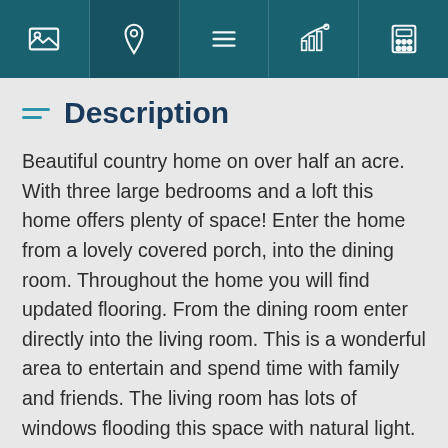[Navigation bar with icons: photo, location, menu, chart, calculator]
Description
Beautiful country home on over half an acre. With three large bedrooms and a loft this home offers plenty of space! Enter the home from a lovely covered porch, into the dining room. Throughout the home you will find updated flooring. From the dining room enter directly into the living room. This is a wonderful area to entertain and spend time with family and friends. The living room has lots of windows flooding this space with natural light. The kitchen is to the rear of the home. The kitchen has ample amounts of counters and storage space, with a large kitchen island. There is a large bedroom on the main floor and two additional bedrooms on the